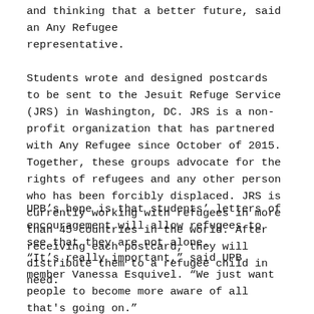and thinking that a better future, said an Any Refugee representative.
Students wrote and designed postcards to be sent to the Jesuit Refuge Service (JRS) in Washington, DC. JRS is a non-profit organization that has partnered with Any Refugee since October of 2015. Together, these groups advocate for the rights of refugees and any other person who has been forcibly displaced. JRS is currently working with refugees in more than 45 countries in the world. After receiving each postcard, they will distribute them to a refugee child in need.
UPB's hope is that students' letters of encouragement will allow refugees to see that they are not alone.
“It’s really important,” said UPB member Vanessa Esquivel. “We just want people to become more aware of all that's going on.”